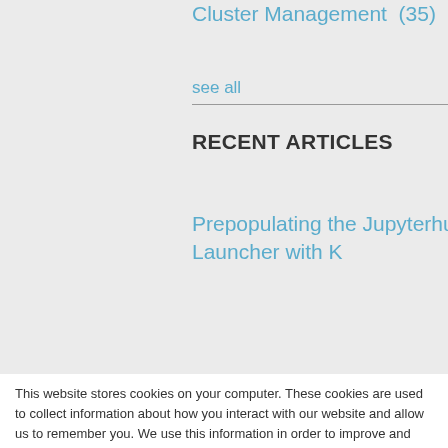Cluster Management  (35)
see all
RECENT ARTICLES
Prepopulating the Jupyterhub Launcher with Kernels
This website stores cookies on your computer. These cookies are used to collect information about how you interact with our website and allow us to remember you. We use this information in order to improve and customize your browsing experience and for analytics and metrics about our visitors both on this website and other media. To find out more about the cookies we use, see our Privacy Policy.
If you decline, your information won't be tracked when you visit this website. A single cookie will be used in your browser to remember your preference not to be tracked.